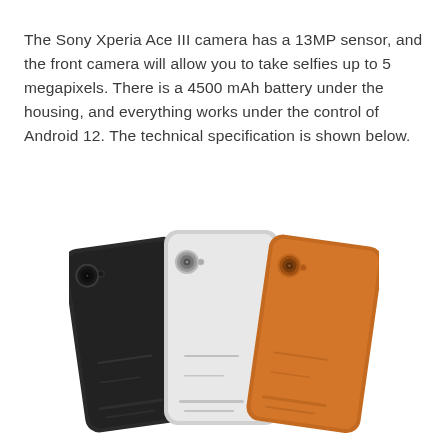The Sony Xperia Ace III camera has a 13MP sensor, and the front camera will allow you to take selfies up to 5 megapixels. There is a 4500 mAh battery under the housing, and everything works under the control of Android 12. The technical specification is shown below.
[Figure (photo): Three Sony Xperia Ace III smartphones shown from the back, fanned out left to right in black, light gray/white, and orange/brown colors, each with a single rear camera lens in the upper left area of the back panel.]